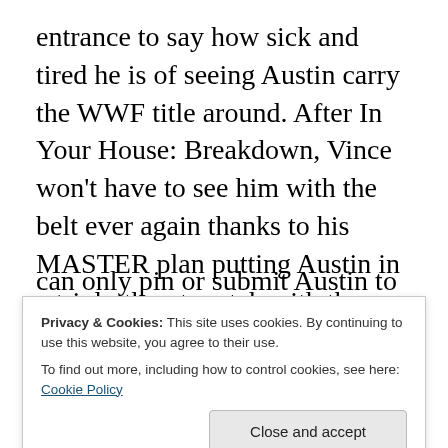entrance to say how sick and tired he is of seeing Austin carry the WWF title around. After In Your House: Breakdown, Vince won't have to see him with the belt ever again thanks to his MASTER plan putting Austin in a triple-threat match with the Undertaker and Kane. Vince continues to say that he's made a business deal with the Undertaker and Kane. They will be protecting Vince from Austin, so if Austin lays a finger on him, Undertaker and/or Kane will ANNIHILATE Austin. McMahon also adds a stipulation to the triple-threat match: Undertaker and Kane can only pin or submit Austin to end the match and win the
Privacy & Cookies: This site uses cookies. By continuing to use this website, you agree to their use. To find out more, including how to control cookies, see here: Cookie Policy
wants Austin to know one thing: Mr. McMahon didn't screw